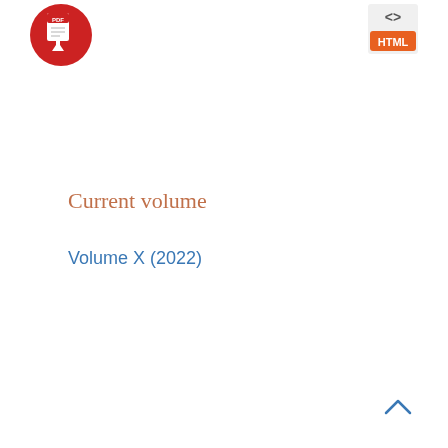[Figure (logo): Red circular PDF download icon with white PDF label and download arrow]
[Figure (logo): Orange HTML button icon with angle bracket symbols and HTML label]
Current volume
Volume X (2022)
[Figure (other): Up arrow navigation icon (caret) in blue at bottom right]